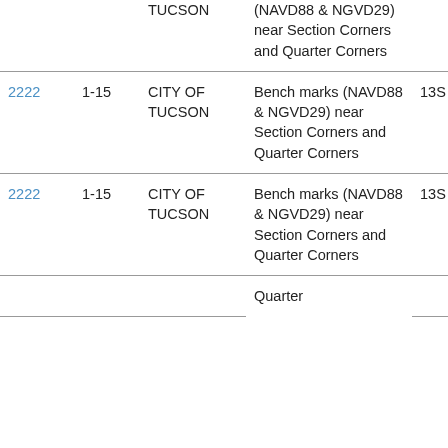| ID | Num | Agency | Description | Zone |  |
| --- | --- | --- | --- | --- | --- |
|  |  | TUCSON | (NAVD88 & NGVD29) near Section Corners and Quarter Corners |  |  |
| 2222 | 1-15 | CITY OF TUCSON | Bench marks (NAVD88 & NGVD29) near Section Corners and Quarter Corners | 13S | 1 |
| 2222 | 1-15 | CITY OF TUCSON | Bench marks (NAVD88 & NGVD29) near Section Corners and Quarter Corners | 13S | 1 |